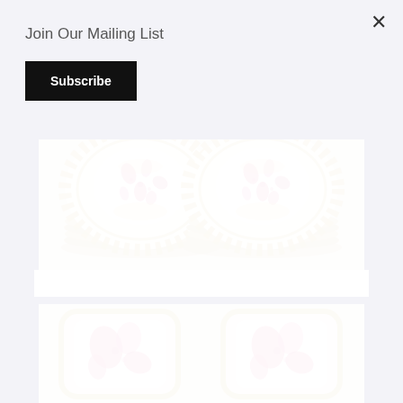Join Our Mailing List
Subscribe
[Figure (photo): Two stacks of decorative porcelain plates with pink floral pattern and gold lattice border, viewed from above on a white surface]
[Figure (photo): Two square decorative porcelain dishes with pink floral pattern and gold border, viewed from above on a white surface]